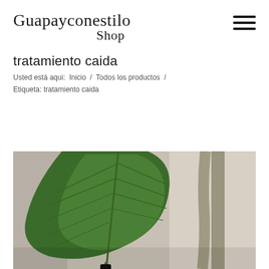Guapayconestilo Shop
tratamiento caida
Usted está aqui:  Inicio  /  Todos los productos  /
Etiqueta: tratamiento caida
[Figure (photo): Close-up photograph of a large green tropical leaf with visible veins and stem, with a blurred background showing another plant stem and soft light.]